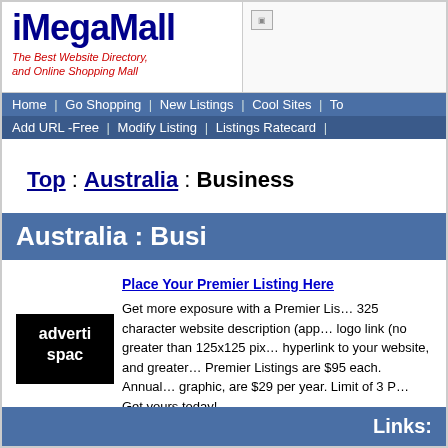[Figure (logo): iMegaMall logo with tagline 'The Best Website Directory, and Online Shopping Mall']
Home | Go Shopping | New Listings | Cool Sites | To...
Add URL -Free | Modify Listing | Listings Ratecard |
Top : Australia : Business
Australia : Busi...
Place Your Premier Listing Here
Get more exposure with a Premier Lis... 325 character website description (app... logo link (no greater than 125x125 pix... hyperlink to your website, and greater... Premier Listings are $95 each. Annual... graphic, are $29 per year. Limit of 3 P... Get yours today!
Links: